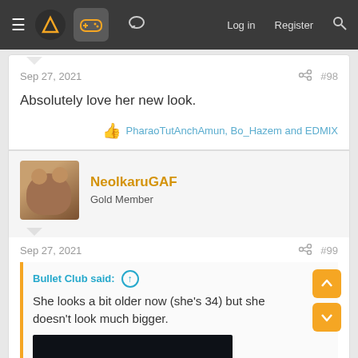≡  [logo] [gamepad icon] [grid icon] [chat icon]  Log in  Register  [search]
Sep 27, 2021  #98
Absolutely love her new look.
PharaoTutAnchAmun, Bo_Hazem and EDMIX
NeolkaruGAF  Gold Member
Sep 27, 2021  #99
Bullet Club said:
She looks a bit older now (she's 34) but she doesn't look much bigger.